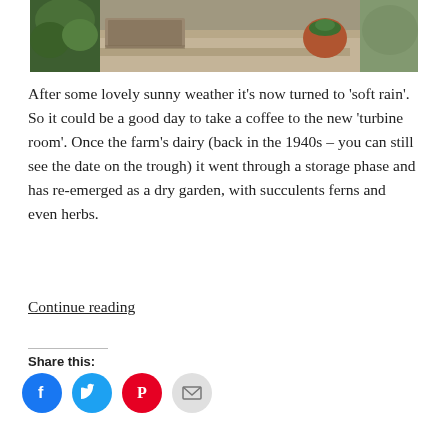[Figure (photo): Overhead garden path scene showing dry garden with ferns, terracotta pots with succulents, raised stone beds, gravel ground, concrete wall in background]
After some lovely sunny weather it's now turned to 'soft rain'. So it could be a good day to take a coffee to the new 'turbine room'. Once the farm's dairy (back in the 1940s – you can still see the date on the trough) it went through a storage phase and has re-emerged as a dry garden, with succulents ferns and even herbs.
Continue reading
Share this: